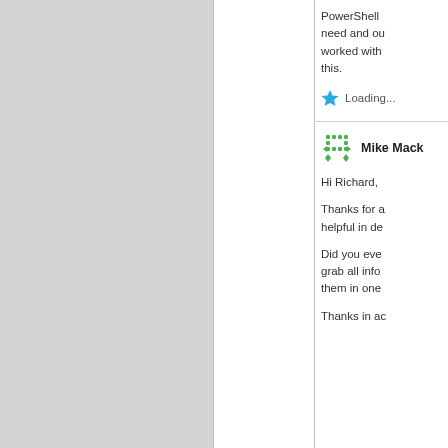PowerShell need and ou worked with this.
Loading...
Mike Mack
Hi Richard,
Thanks for a helpful in de
Did you eve grab all info them in one
Thanks in ac